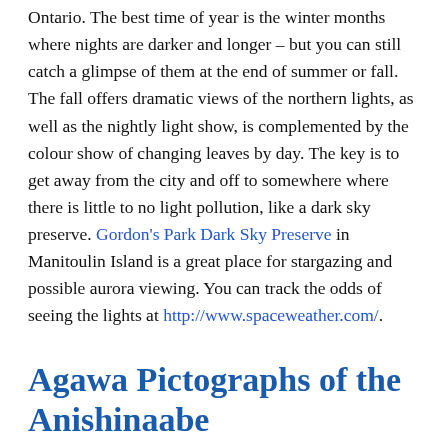Ontario. The best time of year is the winter months where nights are darker and longer – but you can still catch a glimpse of them at the end of summer or fall. The fall offers dramatic views of the northern lights, as well as the nightly light show, is complemented by the colour show of changing leaves by day. The key is to get away from the city and off to somewhere where there is little to no light pollution, like a dark sky preserve. Gordon's Park Dark Sky Preserve in Manitoulin Island is a great place for stargazing and possible aurora viewing. You can track the odds of seeing the lights at http://www.spaceweather.com/.
Agawa Pictographs of the Anishinaabe